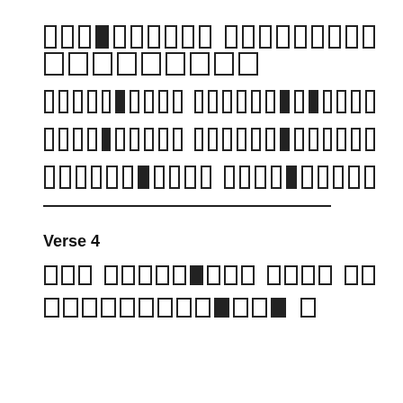[redacted text block - verse lines with censored/redacted content]
[redacted text line]
[redacted text line]
[redacted text line]
——————————————————————
Verse 4
[redacted text line]
[redacted text line]